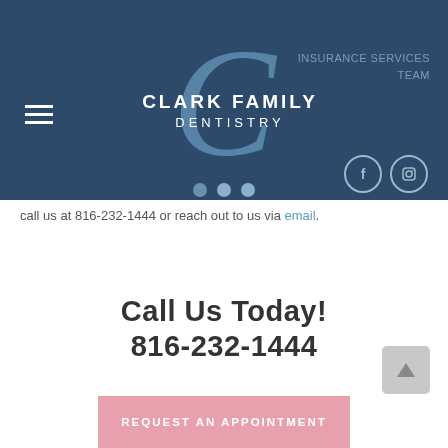[Figure (logo): Clark Family Dentistry logo with large stylized 'C' letter and company name on navy blue background]
call us at 816-232-1444 or reach out to us via email.
Call Us Today!
816-232-1444
REQUEST AN APPOINTMENT